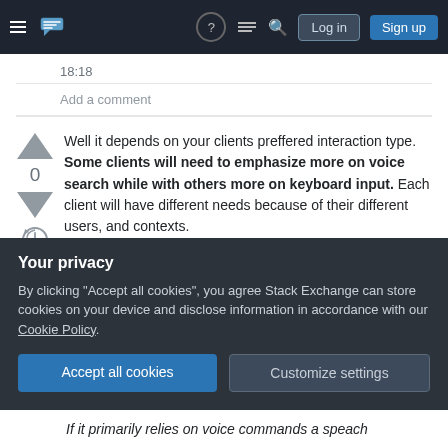Stack Exchange navigation bar with hamburger menu, logo, help, chat, search icons, Log in and Sign up buttons
18:18
Add a comment
Well it depends on your clients preffered interaction type. Some clients will need to emphasize more on voice search while with others more on keyboard input. Each client will have different needs because of their different users, and contexts.
So you can divide interaction types on:
Your privacy
By clicking "Accept all cookies", you agree Stack Exchange can store cookies on your device and disclose information in accordance with our Cookie Policy.
Accept all cookies   Customize settings
If it primarily relies on voice commands a speach